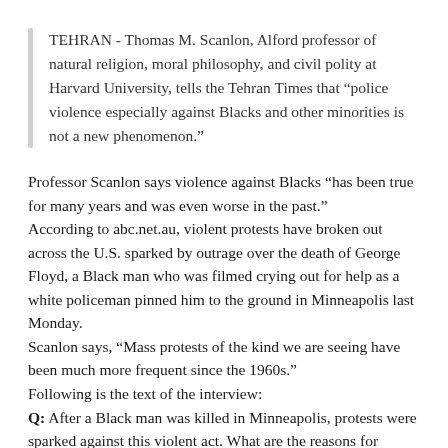TEHRAN - Thomas M. Scanlon, Alford professor of natural religion, moral philosophy, and civil polity at Harvard University, tells the Tehran Times that “police violence especially against Blacks and other minorities is not a new phenomenon.”
Professor Scanlon says violence against Blacks “has been true for many years and was even worse in the past.”
According to abc.net.au, violent protests have broken out across the U.S. sparked by outrage over the death of George Floyd, a Black man who was filmed crying out for help as a white policeman pinned him to the ground in Minneapolis last Monday.
Scanlon says, “Mass protests of the kind we are seeing have been much more frequent since the 1960s.”
Following is the text of the interview:
Q: After a Black man was killed in Minneapolis, protests were sparked against this violent act. What are the reasons for